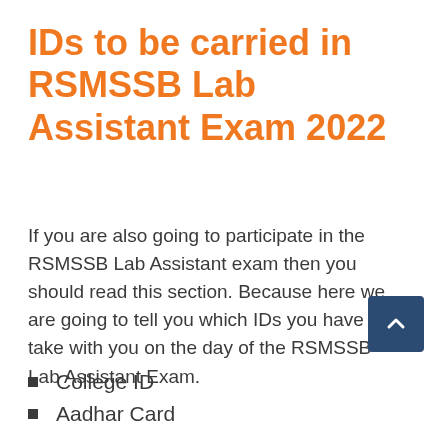IDs to be carried in RSMSSB Lab Assistant Exam 2022
If you are also going to participate in the RSMSSB Lab Assistant exam then you should read this section. Because here we are going to tell you which IDs you have to take with you on the day of the RSMSSB Lab Assistant Exam.
College ID
Aadhar Card